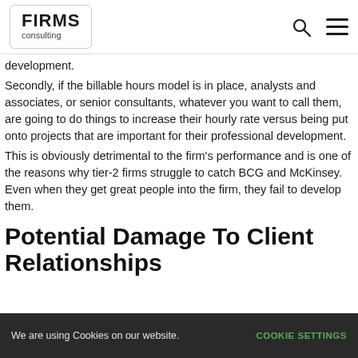FIRMS consulting
development.
Secondly, if the billable hours model is in place, analysts and associates, or senior consultants, whatever you want to call them, are going to do things to increase their hourly rate versus being put onto projects that are important for their professional development.
This is obviously detrimental to the firm's performance and is one of the reasons why tier-2 firms struggle to catch BCG and McKinsey. Even when they get great people into the firm, they fail to develop them.
Potential Damage To Client Relationships
We are using Cookies on our website. COOKIE SETTINGS